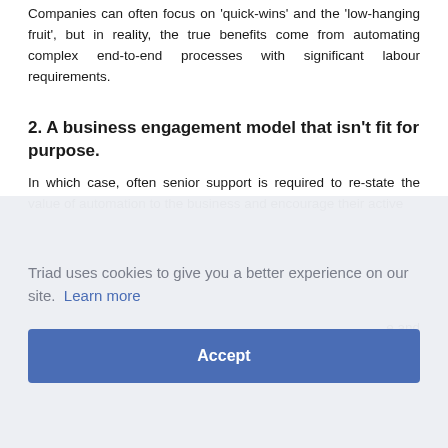Companies can often focus on 'quick-wins' and the 'low-hanging fruit', but in reality, the true benefits come from automating complex end-to-end processes with significant labour requirements.
2. A business engagement model that isn't fit for purpose.
In which case, often senior support is required to re-state the value of automation to the business and encourage their active
Triad uses cookies to give you a better experience on our site. Learn more
Accept
e and exception handling than it should be. This is a people issue and